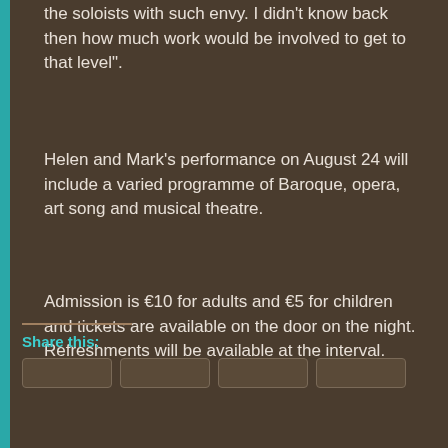the soloists with such envy. I didn't know back then how much work would be involved to get to that level".
Helen and Mark's performance on August 24 will include a varied programme of Baroque, opera, art song and musical theatre.
Admission is €10 for adults and €5 for children and tickets are available on the door on the night. Refreshments will be available at the interval.
http://www.midwestvocalacademy.com/
Share this: